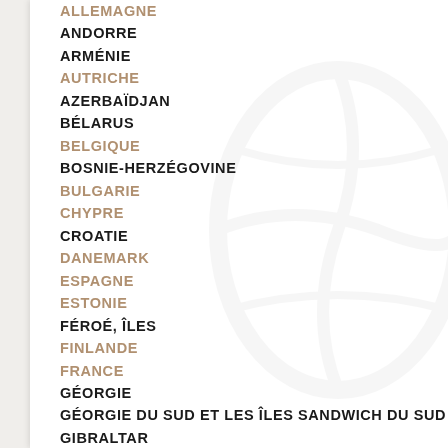ALLEMAGNE
ANDORRE
ARMÉNIE
AUTRICHE
AZERBAÏDJAN
BÉLARUS
BELGIQUE
BOSNIE-HERZÉGOVINE
BULGARIE
CHYPRE
CROATIE
DANEMARK
ESPAGNE
ESTONIE
FÉROÉ, ÎLES
FINLANDE
FRANCE
GÉORGIE
GÉORGIE DU SUD ET LES ÎLES SANDWICH DU SUD
GIBRALTAR
GRÈCE
GROENLAND
GUERNESEY
HONGRIE
ÎLE DE MAN
IRLANDE